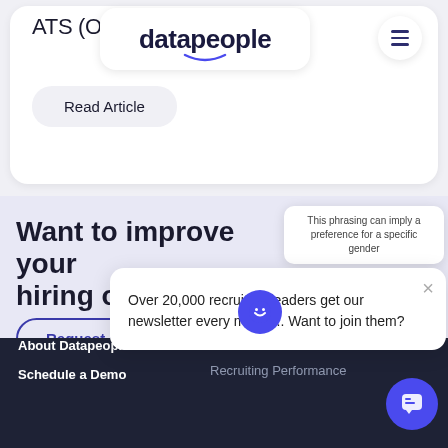[Figure (screenshot): Datapeople website screenshot showing navigation with logo, ATS article card, CTA section, newsletter popup, and footer]
ATS (O... Ch... Tu...)
[Figure (logo): Datapeople logo with smiley arc]
Read Article
Want to improve your hiring outcomes
Request a Demo
This phrasing can imply a preference for a specific gender
Over 20,000 recruiting leaders get our newsletter every month... Want to join them?
About Datapeople
INCLUSIVE HIRING
Schedule a Demo
Recruiting Performance